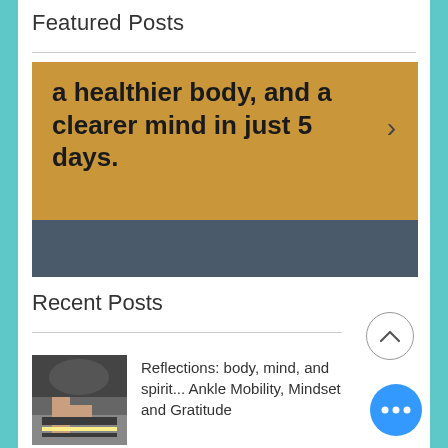Featured Posts
[Figure (screenshot): Featured blog post banner with gold/yellow background showing text 'a healthier body, and a clearer mind in just 5 days.' with a right arrow chevron, and a dark gray/slate bar at the bottom]
Recent Posts
[Figure (photo): Small thumbnail of a person performing ankle mobility exercise on a mat or step]
Reflections: body, mind, and spirit... Ankle Mobility, Mindset and Gratitude